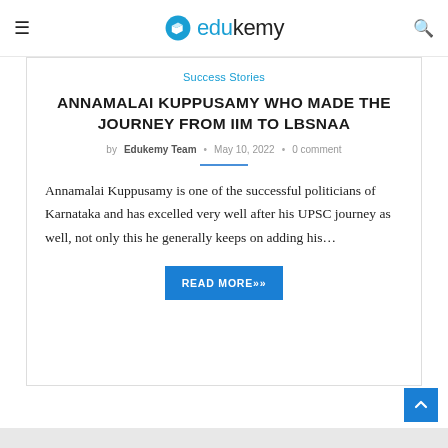edukemy
Success Stories
ANNAMALAI KUPPUSAMY WHO MADE THE JOURNEY FROM IIM TO LBSNAA
by Edukemy Team • May 10, 2022 • 0 comment
Annamalai Kuppusamy is one of the successful politicians of Karnataka and has excelled very well after his UPSC journey as well, not only this he generally keeps on adding his…
READ MORE»